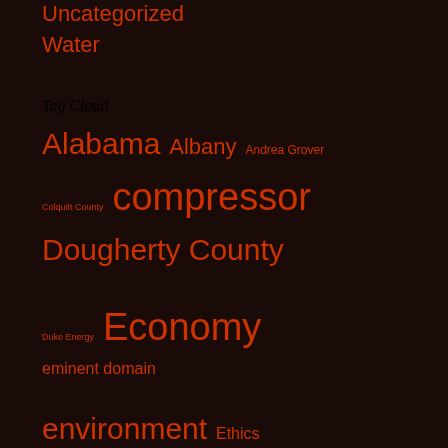Uncategorized
Water
Tag Cloud
Alabama Albany Andrea Grover Colquitt County compressor Dougherty County Duke Energy Economy eminent domain environment Ethics explosion export FE FERC Florida Florida Southeast Connection FPL Franklin Georgia